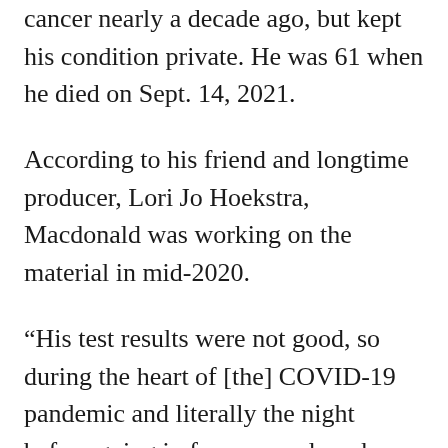cancer nearly a decade ago, but kept his condition private. He was 61 when he died on Sept. 14, 2021.
According to his friend and longtime producer, Lori Jo Hoekstra, Macdonald was working on the material in mid-2020.
“His test results were not good, so during the heart of [the] COVID-19 pandemic and literally the night before going in for a procedure, he wanted to get this on tape just in case — as he put it — things went south,” Hoekstra told The Hollywood Reporter. “It was his intention to have a special to share if something happened.”
The special was shot in Macdonald’s living